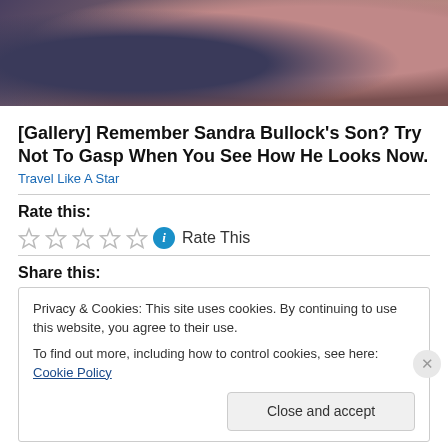[Figure (photo): Partial photo of two people, appears to be cropped faces/upper body, dark background tones]
[Gallery] Remember Sandra Bullock's Son? Try Not To Gasp When You See How He Looks Now.
Travel Like A Star
Rate this:
★ ★ ★ ★ ★  ℹ  Rate This
Share this:
Privacy & Cookies: This site uses cookies. By continuing to use this website, you agree to their use.
To find out more, including how to control cookies, see here: Cookie Policy